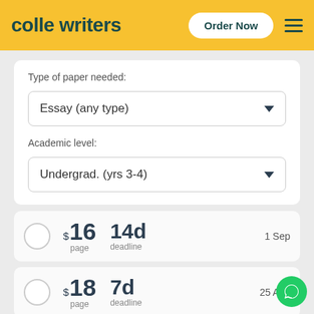colle writers — Order Now
Type of paper needed:
Essay (any type)
Academic level:
Undergrad. (yrs 3-4)
$16 page — 14d deadline — 1 Sep
$18 page — 7d deadline — 25 Aug
$19 page — 5d deadline — 23 Aug